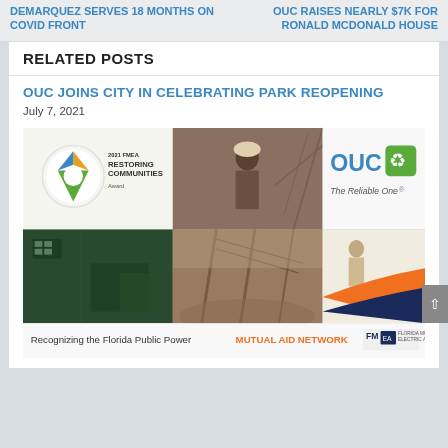DeMARQUEZ SERVES 18 MONTHS ON COVID FRONT
OUC RAISES NEARLY $7K FOR RONALD McDONALD HOUSE
RELATED POSTS
OUC JOINS CITY IN CELEBRATING PARK REOPENING
July 7, 2021
[Figure (photo): OUC image collage featuring 2021 FMEA Restoring Communities Award logo, workers on utility infrastructure, OUC The Reliable One branding, and caption 'Recognizing the Florida Public Power MUTUAL AID NETWORK' with FMEA logo.]